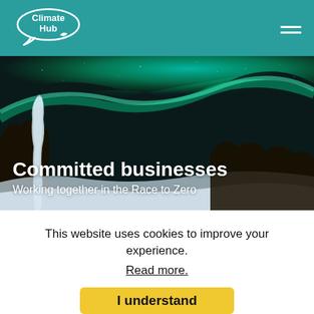Climate Hub
[Figure (photo): Aurora borealis (northern lights) over a frozen landscape with an icy waterfall and snow-covered ground at night. Green and teal lights illuminating the dark sky.]
Committed businesses
Working together in the Race to Zero
This website uses cookies to improve your experience.
Read more.
I understand